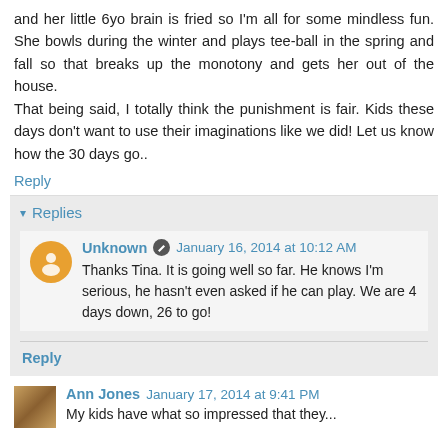and her little 6yo brain is fried so I'm all for some mindless fun. She bowls during the winter and plays tee-ball in the spring and fall so that breaks up the monotony and gets her out of the house.
That being said, I totally think the punishment is fair. Kids these days don't want to use their imaginations like we did! Let us know how the 30 days go..
Reply
Replies
Unknown  January 16, 2014 at 10:12 AM
Thanks Tina. It is going well so far. He knows I'm serious, he hasn't even asked if he can play. We are 4 days down, 26 to go!
Reply
Ann Jones  January 17, 2014 at 9:41 PM
My kids have what so impressed that they...